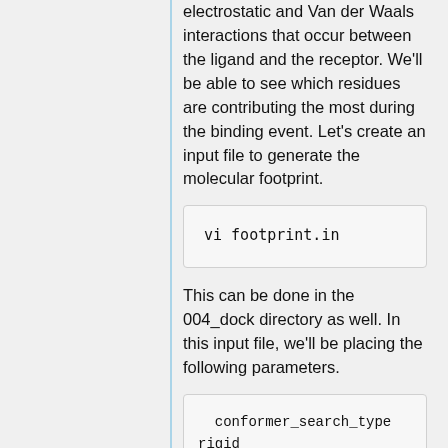electrostatic and Van der Waals interactions that occur between the ligand and the receptor. We'll be able to see which residues are contributing the most during the binding event. Let's create an input file to generate the molecular footprint.
This can be done in the 004_dock directory as well. In this input file, we'll be placing the following parameters.